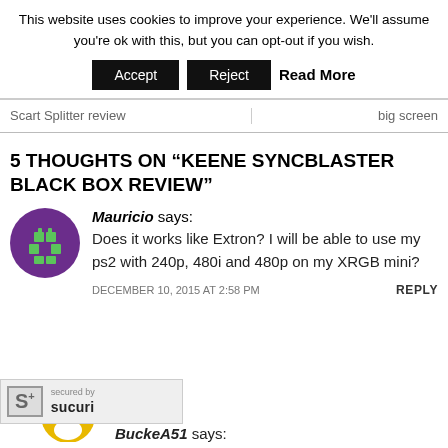This website uses cookies to improve your experience. We'll assume you're ok with this, but you can opt-out if you wish.
Accept | Reject | Read More
Scart Splitter review | big screen
5 THOUGHTS ON “KEENE SYNCBLASTER BLACK BOX REVIEW”
Mauricio says: Does it works like Extron? I will be able to use my ps2 with 240p, 480i and 480p on my XRGB mini?
DECEMBER 10, 2015 AT 2:58 PM    REPLY
[Figure (logo): Sucuri security badge with S+ logo and 'secured by sucuri' text]
BuckeA51 says: